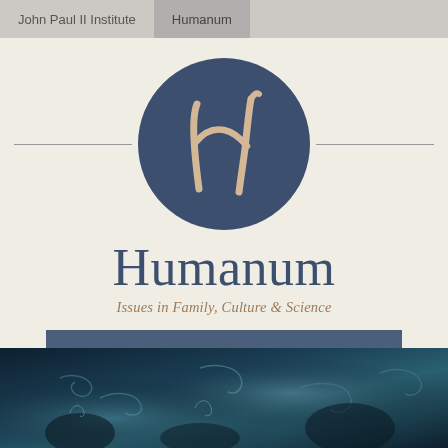John Paul II Institute  |  Humanum
[Figure (logo): Humanum journal logo: dark navy blue circle with a stylized cursive H in tan/cream color]
Humanum
Issues in Family, Culture & Science
≡  MENU
[Figure (photo): Bottom portion of a painting showing figures in blue tones, appears to be a classical oil painting]